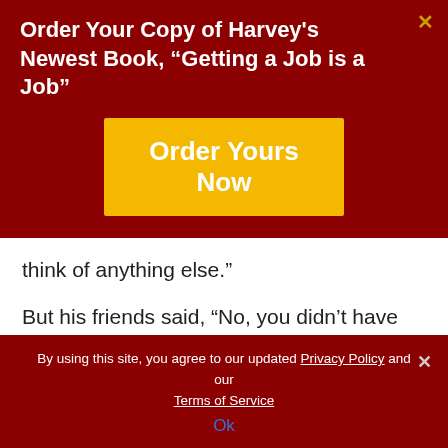Order Your Copy of Harvey’s Newest Book, “Getting a Job is a Job”
[Figure (other): Yellow 'Order Yours Now' call-to-action button on dark red background]
think of anything else.”
But his friends said, “No, you didn’t have time to think. Courage is a natural instinct if you have it.”
Mackay’s Moral:  If a thing is worth having, it’s worth
By using this site, you agree to our updated Privacy Policy and our Terms of Service
Ok